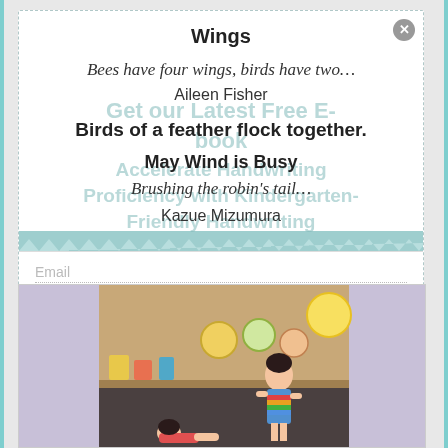Wings
Bees have four wings, birds have two…
Aileen Fisher
Get our Latest Free E-book
Accelerate Handwriting Proficiency with Kindergarten-Friendly Handwriting
Birds of a feather flock together.
May Wind is Busy
Brushing the robin's tail…
Kazue Mizumura
Email
[Figure (photo): Children in a classroom; one child standing in colorful striped dress, another lying on the floor, classroom background with shelves and decorations]